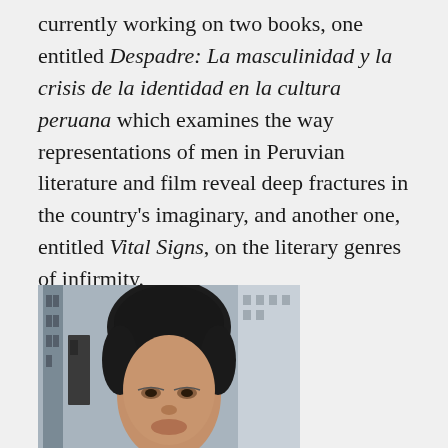currently working on two books, one entitled Despadre: La masculinidad y la crisis de la identidad en la cultura peruana which examines the way representations of men in Peruvian literature and film reveal deep fractures in the country's imaginary, and another one, entitled Vital Signs, on the literary genres of infirmity.
[Figure (photo): Portrait photograph of a person with short dark hair, looking slightly to the side, with a blurred building facade in the background.]